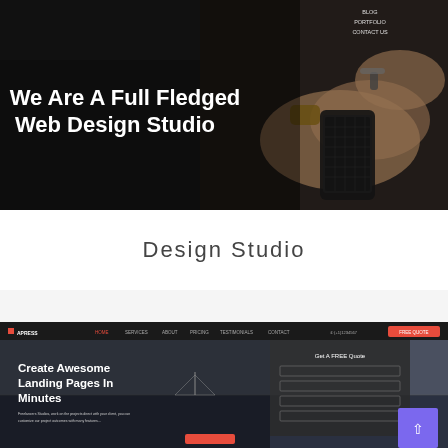[Figure (screenshot): Website hero section screenshot showing a dark background with hands holding a smartphone, navigation menu items (Blog, Portfolio, Contact Us) in top right, and large white bold text reading 'We Are A Full Fledged Web Design Studio']
Design Studio
[Figure (screenshot): Website screenshot showing a dark moody landing page with header navigation (APRESS logo, HOME, SERVICES, ABOUT, PRICING, TESTIMONIALS, CONTACT, GET A QUOTE button in orange), a hero section over water with text 'Create Awesome Landing Pages In Minutes', and a 'Get A FREE Quote' form panel on the right side. A purple arrow-up button appears in bottom right corner.]